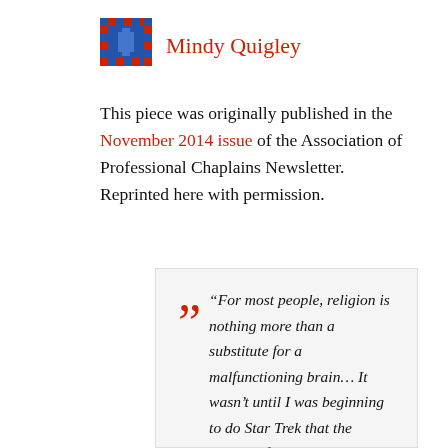[Figure (other): Avatar icon — decorative blue/red pixel-art style square icon]
Mindy Quigley
This piece was originally published in the November 2014 issue of the Association of Professional Chaplains Newsletter. Reprinted here with permission.
“For most people, religion is nothing more than a substitute for a malfunctioning brain… It wasn’t until I was beginning to do Star Trek that the subject of religion arose. What brought it up was that people were saying that I would have